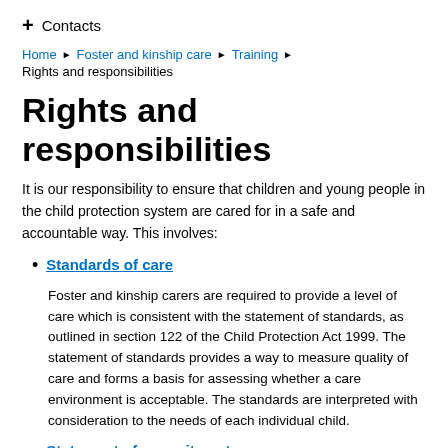+ Contacts
Home ▶ Foster and kinship care ▶ Training ▶ Rights and responsibilities
Rights and responsibilities
It is our responsibility to ensure that children and young people in the child protection system are cared for in a safe and accountable way. This involves:
Standards of care
Foster and kinship carers are required to provide a level of care which is consistent with the statement of standards, as outlined in section 122 of the Child Protection Act 1999. The statement of standards provides a way to measure quality of care and forms a basis for assessing whether a care environment is acceptable. The standards are interpreted with consideration to the needs of each individual child.
Statement of commitment